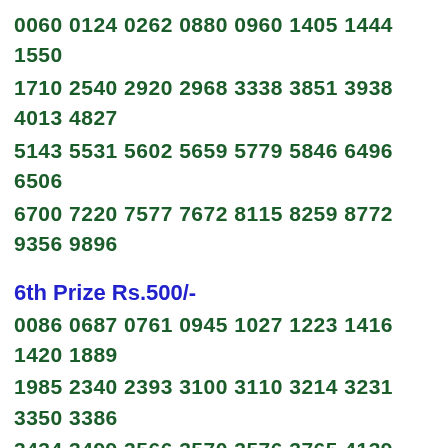0060 0124 0262 0880 0960 1405 1444 1550
1710 2540 2920 2968 3338 3851 3938 4013 4827
5143 5531 5602 5659 5779 5846 6496 6506
6700 7220 7577 7672 8115 8259 8772 9356 9896
6th Prize Rs.500/-
0086 0687 0761 0945 1027 1223 1416 1420 1889
1985 2340 2393 3100 3110 3214 3231 3350 3386
3434 3499 3566 3570 3576 3765 4139 4250
4466 4654 4690 4762 4863 4937 4979 4989
5000 5188 5246 5358 5540 5694 5755 5823
5840 5966 6141 6221 6405 6417 6557 6641 7143